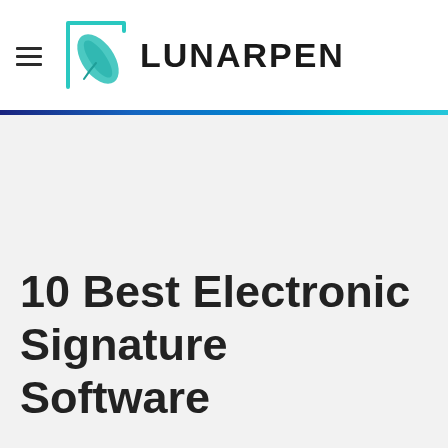[Figure (logo): Lunarpen logo: teal feather pen inside a square outline, with the text LUNARPEN in bold black]
10 Best Electronic Signature Software